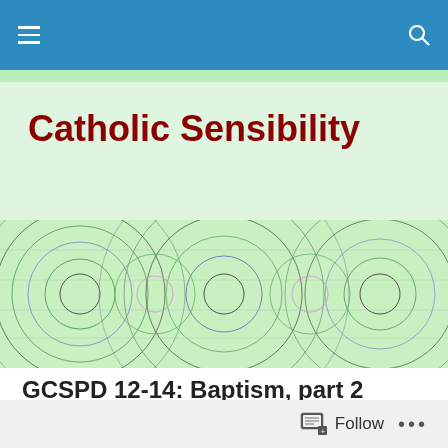Catholic Sensibility – navigation bar with menu and search icons
Catholic Sensibility
[Figure (illustration): Decorative horizontal banner with colorful interference wave pattern, greens, purples, and blacks on light green background]
GCSPD 12-14: Baptism, part 2
Posted by catholicsensibility
[Figure (photo): Photograph partially visible showing a blue and brown object, possibly a ceramic or natural item, against a blue background]
Follow ...